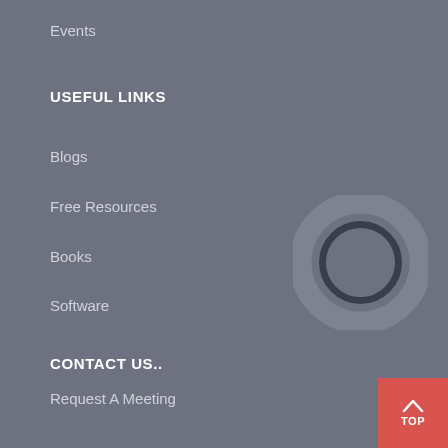Events
USEFUL LINKS
Blogs
Free Resources
Books
Software
[Figure (illustration): A circular loading spinner graphic — outer diffuse ring and inner dark circle ring on grey background]
CONTACT US..
Request A Meeting
Ask the Experts
Send Feedback